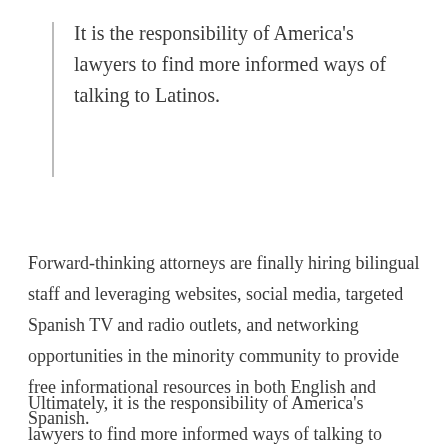It is the responsibility of America's lawyers to find more informed ways of talking to Latinos.
Forward-thinking attorneys are finally hiring bilingual staff and leveraging websites, social media, targeted Spanish TV and radio outlets, and networking opportunities in the minority community to provide free informational resources in both English and Spanish.
Ultimately, it is the responsibility of America's lawyers to find more informed ways of talking to Latinos. Only then